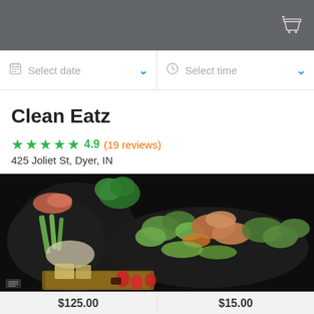Select date
Select time
Clean Eatz
4.9 (19 reviews)
425 Joliet St, Dyer, IN
[Figure (photo): A platter of healthy food wraps, rolls, vegetables and fresh items arranged on a dark round plate with dips and strawberries on a wooden board, photographed on a dark background]
$125.00
$15.00